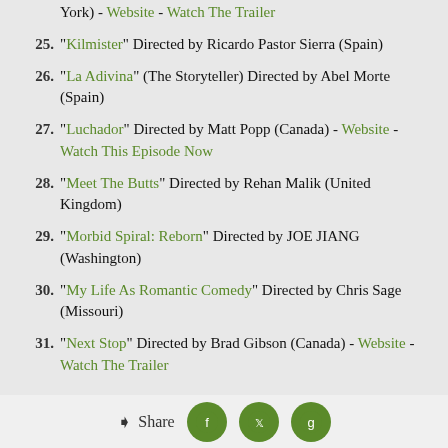"Kilmister" Directed by Ricardo Pastor Sierra (Spain)
"La Adivina" (The Storyteller) Directed by Abel Morte (Spain)
"Luchador" Directed by Matt Popp (Canada) - Website - Watch This Episode Now
"Meet The Butts" Directed by Rehan Malik (United Kingdom)
"Morbid Spiral: Reborn" Directed by JOE JIANG (Washington)
"My Life As Romantic Comedy" Directed by Chris Sage (Missouri)
"Next Stop" Directed by Brad Gibson (Canada) - Website - Watch The Trailer